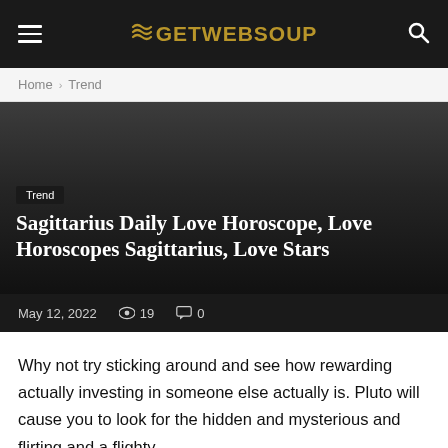GETWEBSOUP
Home › Trend
[Figure (other): Dark hero image background with gradient from dark gray to near black]
Trend
Sagittarius Daily Love Horoscope, Love Horoscopes Sagittarius, Love Stars
May 12, 2022   👁 19   💬 0
Why not try sticking around and see how rewarding actually investing in someone else actually is. Pluto will cause you to look for the hidden and mysterious and flirting and a flighty